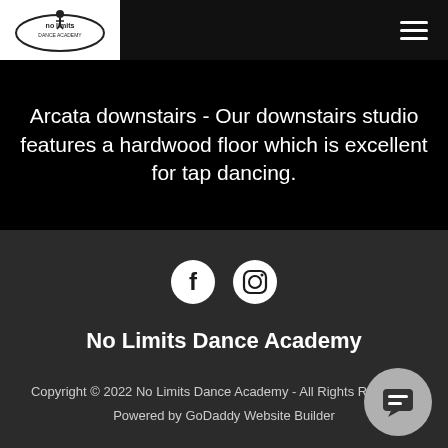[Figure (logo): No Limits Dance Academy logo in white box at top left]
Arcata downstairs - Our downstairs studio features a hardwood floor which is excellent for tap dancing.
[Figure (infographic): Facebook and Instagram social media icons in circles]
No Limits Dance Academy
Copyright © 2022 No Limits Dance Academy - All Rights Reserved. Powered by GoDaddy Website Builder